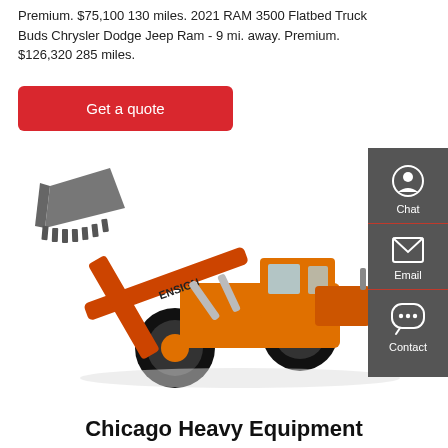Premium. $75,100 130 miles. 2021 RAM 3500 Flatbed Truck Buds Chrysler Dodge Jeep Ram - 9 mi. away. Premium. $126,320 285 miles.
Get a quote
[Figure (photo): Orange Ensign wheel loader / front-end loader construction machine on white background]
Chat
Email
Contact
Chicago Heavy Equipment